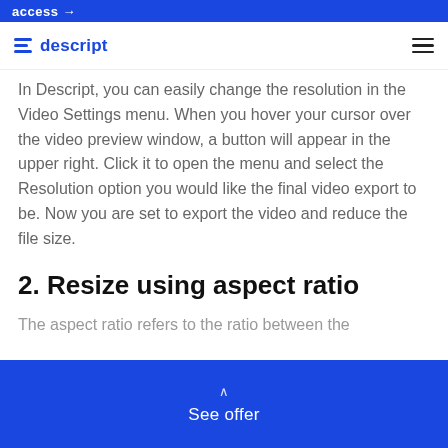access →
descript
In Descript, you can easily change the resolution in the Video Settings menu. When you hover your cursor over the video preview window, a button will appear in the upper right. Click it to open the menu and select the Resolution option you would like the final video export to be. Now you are set to export the video and reduce the file size.
2. Resize using aspect ratio
The aspect ratio refers to the ratio between the
See offer